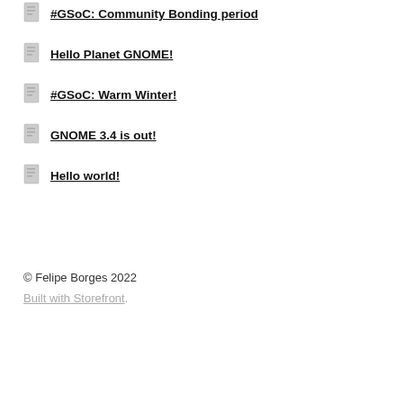#GSoC: Community Bonding period
Hello Planet GNOME!
#GSoC: Warm Winter!
GNOME 3.4 is out!
Hello world!
© Felipe Borges 2022
Built with Storefront.